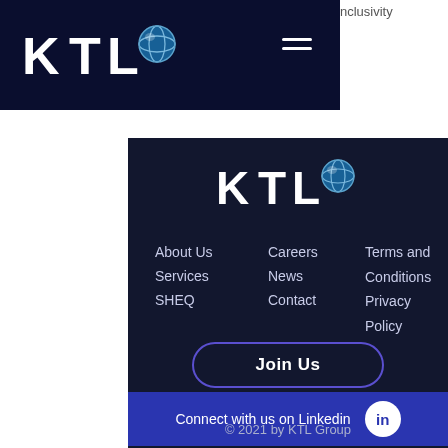[Figure (screenshot): KTL website screenshot showing navigation bar with KTL logo and hamburger menu on dark navy background, with 'inclusivity' text visible in top right corner]
[Figure (logo): KTL Group logo in white with blue globe icon]
About Us
Services
SHEQ
Careers
News
Contact
Terms and Conditions Privacy Policy
Join Us
Connect with us on Linkedin
© 2021 by KTL Group